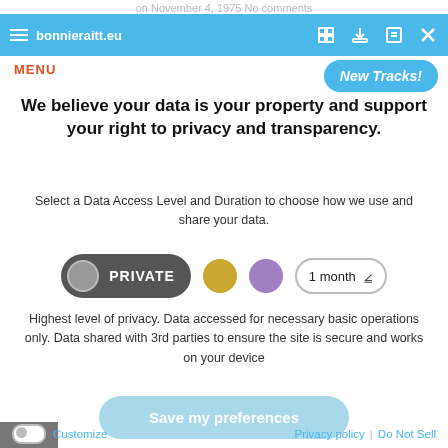on November 4, 1975 No comments
bonnieraitt.eu
MENU
We believe your data is your property and support your right to privacy and transparency.
Select a Data Access Level and Duration to choose how we use and share your data.
PRIVATE  [gold dot]  [purple dot]  1 month ▾
Highest level of privacy. Data accessed for necessary basic operations only. Data shared with 3rd parties to ensure the site is secure and works on your device
Save my preferences
Customize  |  Privacy policy  |  Do Not Sell